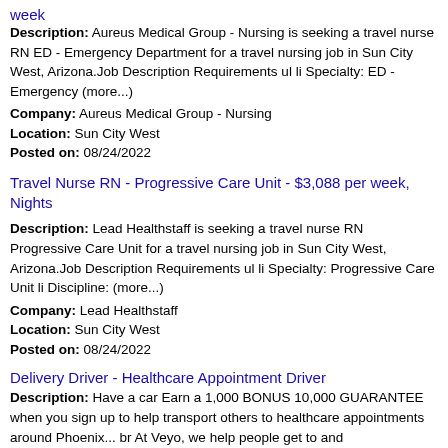week
Description: Aureus Medical Group - Nursing is seeking a travel nurse RN ED - Emergency Department for a travel nursing job in Sun City West, Arizona.Job Description Requirements ul li Specialty: ED - Emergency (more...)
Company: Aureus Medical Group - Nursing
Location: Sun City West
Posted on: 08/24/2022
Travel Nurse RN - Progressive Care Unit - $3,088 per week, Nights
Description: Lead Healthstaff is seeking a travel nurse RN Progressive Care Unit for a travel nursing job in Sun City West, Arizona.Job Description Requirements ul li Specialty: Progressive Care Unit li Discipline: (more...)
Company: Lead Healthstaff
Location: Sun City West
Posted on: 08/24/2022
Delivery Driver - Healthcare Appointment Driver
Description: Have a car Earn a 1,000 BONUS 10,000 GUARANTEE when you sign up to help transport others to healthcare appointments around Phoenix... br At Veyo, we help people get to and